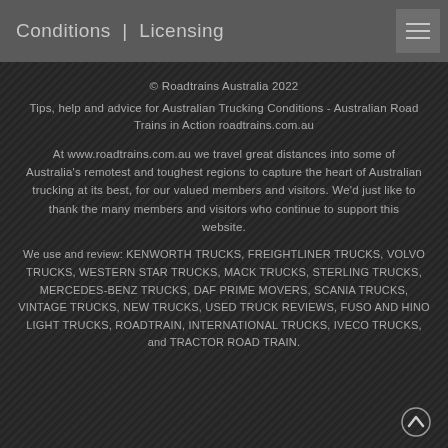Conditions | Licensing
© Roadtrains Australia 2022
Tips, help and advice for Australian Trucking Conditions - Australian Road Trains in Action roadtrains.com.au
At www.roadtrains.com.au we travel great distances into some of Australia's remotest and toughest regions to capture the heart of Australian trucking at its best, for our valued members and visitors. We'd just like to thank the many members and visitors who continue to support this website.
We use and review: KENWORTH TRUCKS, FREIGHTLINER TRUCKS, VOLVO TRUCKS, WESTERN STAR TRUCKS, MACK TRUCKS, STERLING TRUCKS, MERCEDES-BENZ TRUCKS, DAF PRIME MOVERS, SCANIA TRUCKS, VINTAGE TRUCKS, NEW TRUCKS, USED TRUCK REVIEWS, FUSO AND HINO LIGHT TRUCKS, ROADTRAIN, INTERNATIONAL TRUCKS, IVECO TRUCKS, and TRACTOR ROAD TRAIN.